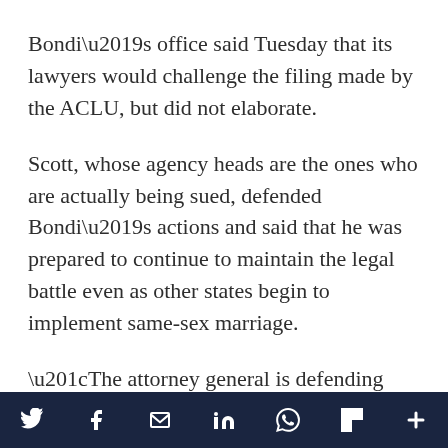Bondi’s office said Tuesday that its lawyers would challenge the filing made by the ACLU, but did not elaborate.
Scott, whose agency heads are the ones who are actually being sued, defended Bondi’s actions and said that he was prepared to continue to maintain the legal battle even as other states begin to implement same-sex marriage.
“The attorney general is defending Florida’s constitution, which is her duty,” Scott said in a statement released by his office. “This is a matter
Social share bar with icons: Twitter, Facebook, Email, LinkedIn, WhatsApp, Flipboard, More